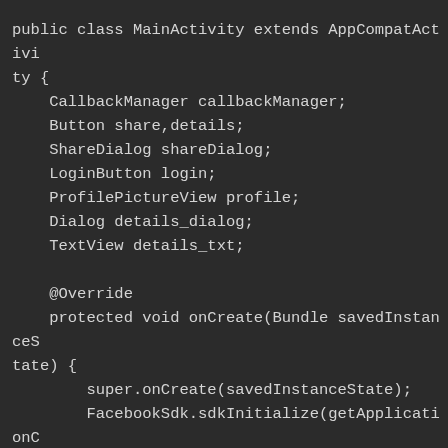[Figure (screenshot): Dark-themed code editor screenshot showing Java Android code for MainActivity class extending AppCompatActivity, with field declarations and onCreate method containing super.onCreate, FacebookSdk.sdkInitialize, setContentView, callbackManager assignment, and partial login assignment.]